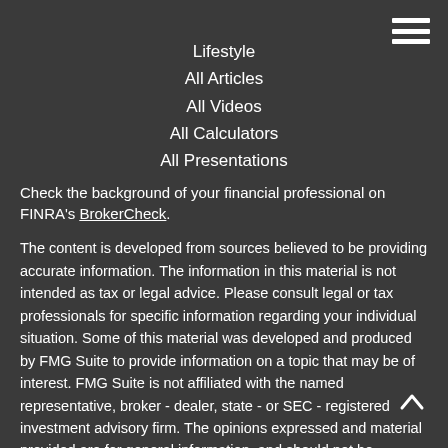Lifestyle
All Articles
All Videos
All Calculators
All Presentations
Check the background of your financial professional on FINRA's BrokerCheck.
The content is developed from sources believed to be providing accurate information. The information in this material is not intended as tax or legal advice. Please consult legal or tax professionals for specific information regarding your individual situation. Some of this material was developed and produced by FMG Suite to provide information on a topic that may be of interest. FMG Suite is not affiliated with the named representative, broker - dealer, state - or SEC - registered investment advisory firm. The opinions expressed and material provided are for general information, and should not be considered a solicitation for the purchase or sale of any security.